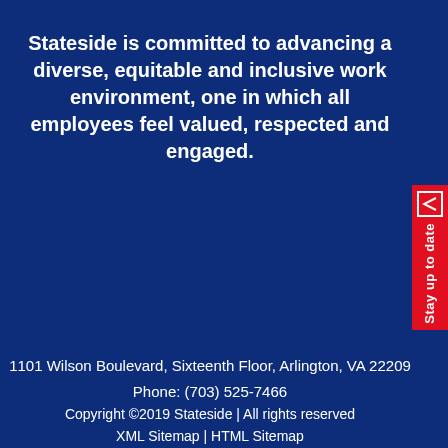Stateside is committed to advancing a diverse, equitable and inclusive work environment, one in which all employees feel valued, respected and engaged.
[Figure (other): Red vertical side tab with envelope/back icon and 'Stay up to date' text rotated vertically]
1101 Wilson Boulevard, Sixteenth Floor, Arlington, VA 22209
Phone: (703) 525-7466
Copyright ©2019 Stateside | All rights reserved
XML Sitemap | HTML Sitemap